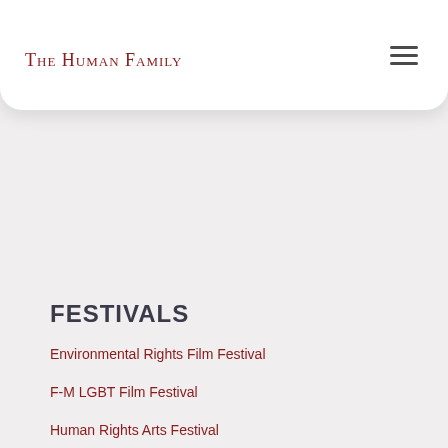The Human Family
FESTIVALS
Environmental Rights Film Festival
F-M LGBT Film Festival
Human Rights Arts Festival
Human Rights Film Festival
Festival Terms & Conditions